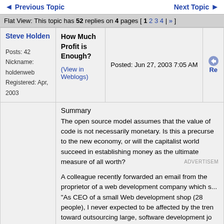◄ Previous Topic   Next Topic ►
Flat View: This topic has 52 replies on 4 pages [ 1 2 3 4 | » ]
| User | Title | Posted | Action |
| --- | --- | --- | --- |
| Steve Holden
Posts: 42
Nickname: holdenweb
Registered: Apr, 2003 | How Much Profit is Enough?
(View in Weblogs) | Posted: Jun 27, 2003 7:05 AM | Re |
Summary
The open source model assumes that the value of code is not necessarily monetary. Is this a precursor to the new economy, or will the capitalist world succeed in establishing money as the ultimate measure of all worth?
A colleague recently forwarded an email from the proprietor of a web development company which s... "As CEO of a small Web development shop (28 people), I never expected to be affected by the trend toward outsourcing large, software development jobs to overseas firms. ... [My company] has lost three medium-sized jobs (less than $25,000 each) to groups in India and Pakistan (and these are just the ones we have known about)." It took the best part of three hundred years for the industrial revolution to